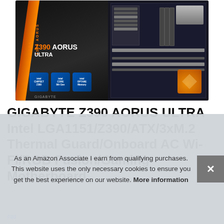[Figure (photo): Product photo of GIGABYTE Z390 AORUS ULTRA motherboard showing the box and the motherboard itself side by side against a dark background]
GIGABYTE Z390 AORUS ULTRA Intel LGA1151/Z390/ATX/3xM.2 Thermal Guard/Onboard AC Wi-Fi/RGB Fusion/Gaming Motherboard
#ad
As an Amazon Associate I earn from qualifying purchases. This website uses the only necessary cookies to ensure you get the best experience on our website. More information